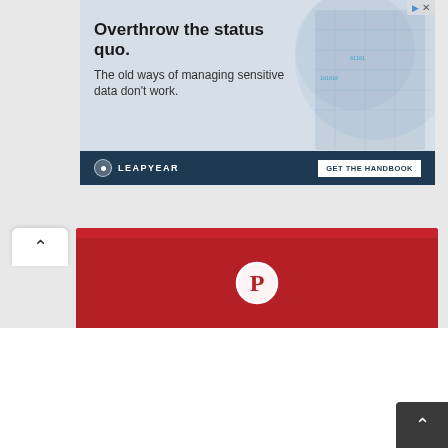[Figure (screenshot): Advertisement banner for Leapyear: 'Overthrow the status quo. The old ways of managing sensitive data don't work.' with LEAPYEAR branding and GET THE HANDBOOK button]
[Figure (screenshot): Pinterest share button bar in red with Pinterest logo (circle P icon)]
[Figure (screenshot): Back-to-top chevron button in dark gray at bottom right]